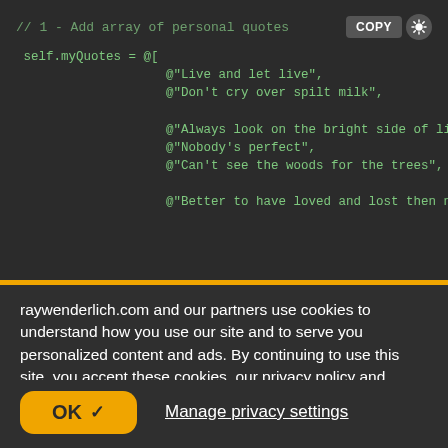[Figure (screenshot): Dark-themed code editor showing Objective-C/Swift array of personal quotes. Includes a COPY button and a sun/brightness icon in the top-right corner. Code text in green monospace font on dark background.]
raywenderlich.com and our partners use cookies to understand how you use our site and to serve you personalized content and ads. By continuing to use this site, you accept these cookies, our privacy policy and terms of service.
OK ✓   Manage privacy settings